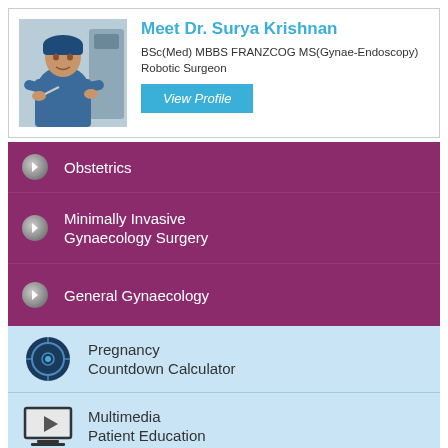[Figure (photo): Doctor profile card with photo of Dr. Surya Krishnan in blue scrubs]
Meet Dr. Surya Krishnan
BSc(Med) MBBS FRANZCOG MS(Gynae-Endoscopy)
Robotic Surgeon
View Profile
Obstetrics
Minimally Invasive Gynaecology Surgery
General Gynaecology
Pregnancy Countdown Calculator
Multimedia Patient Education
Baby Gallery